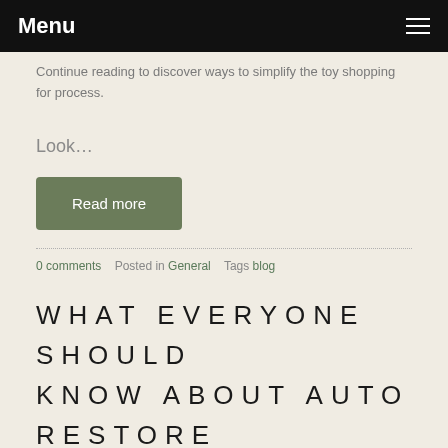Menu
Continue reading to discover ways to simplify the toy shopping for process.
Look…
Read more
0 comments   Posted in General   Tags blog
WHAT EVERYONE SHOULD KNOW ABOUT AUTO RESTORE